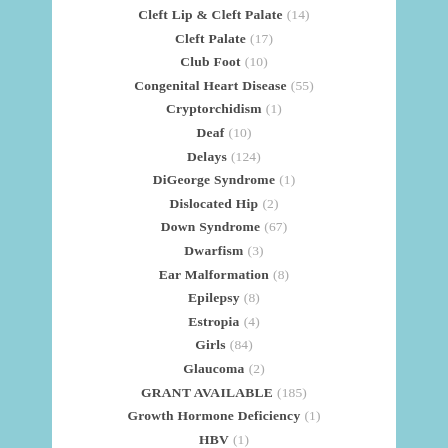Cleft Lip & Cleft Palate (14)
Cleft Palate (17)
Club Foot (10)
Congenital Heart Disease (55)
Cryptorchidism (1)
Deaf (10)
Delays (124)
DiGeorge Syndrome (1)
Dislocated Hip (2)
Down Syndrome (67)
Dwarfism (3)
Ear Malformation (8)
Epilepsy (8)
Estropia (4)
Girls (84)
Glaucoma (2)
GRANT AVAILABLE (185)
Growth Hormone Deficiency (1)
HBV (1)